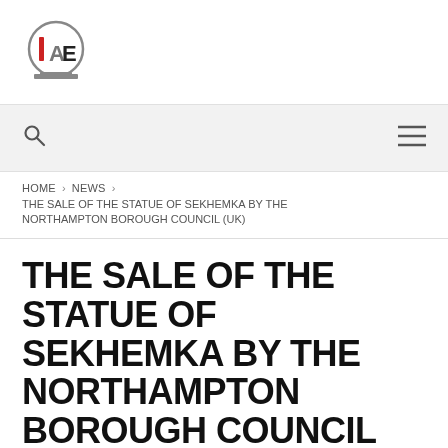[Figure (logo): IAE circular logo with red I, grey A, dark E letters inside a circle with a base]
Search icon and hamburger menu icon navigation bar
HOME > NEWS > THE SALE OF THE STATUE OF SEKHEMKA BY THE NORTHAMPTON BOROUGH COUNCIL (UK)
THE SALE OF THE STATUE OF SEKHEMKA BY THE NORTHAMPTON BOROUGH COUNCIL (UK)
SEPTEMBER 14, 2015   NEWS
Statement approved by the Council and General Assembly of the International Association of